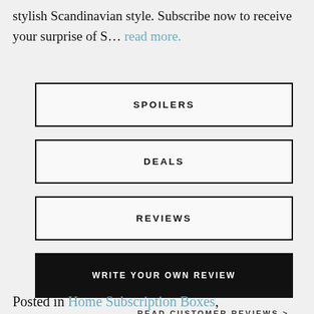stylish Scandinavian style. Subscribe now to receive your surprise of S… read more.
SPOILERS
DEALS
REVIEWS
WRITE YOUR OWN REVIEW
READ CUSTOMER REVIEWS >
Posted in Home Subscription Boxes,